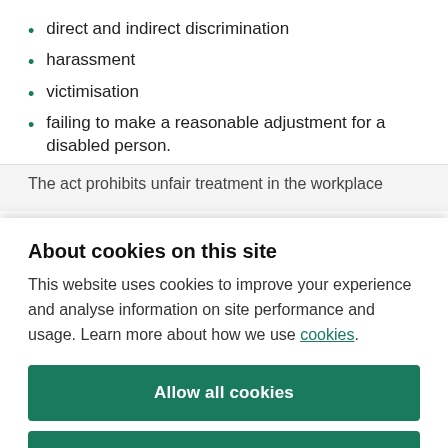direct and indirect discrimination
harassment
victimisation
failing to make a reasonable adjustment for a disabled person.
The act prohibits unfair treatment in the workplace
About cookies on this site
This website uses cookies to improve your experience and analyse information on site performance and usage. Learn more about how we use cookies.
Allow all cookies
Cookie settings